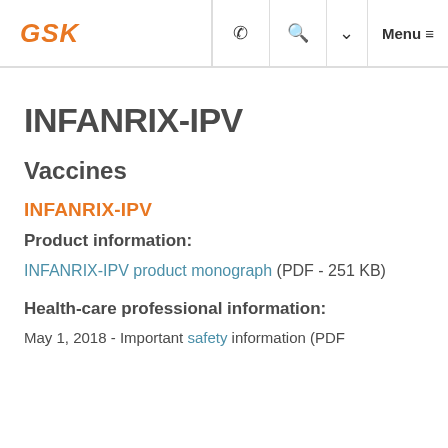GSK | phone | search | chevron | Menu
INFANRIX-IPV
Vaccines
INFANRIX-IPV
Product information:
INFANRIX-IPV product monograph (PDF - 251 KB)
Health-care professional information:
May 1, 2018 - Important safety information (PDF